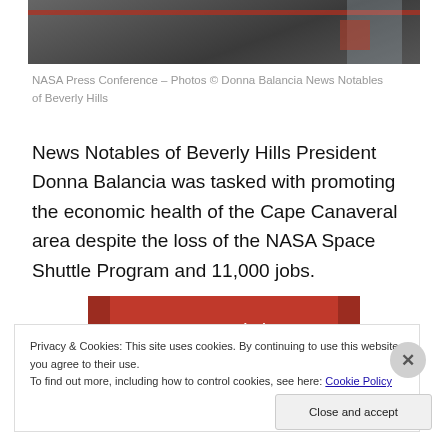[Figure (photo): Top portion of a NASA press conference photo, showing a dark interior scene with red accent stripe.]
NASA Press Conference – Photos © Donna Balancia News Notables of Beverly Hills
News Notables of Beverly Hills President Donna Balancia was tasked with promoting the economic health of the Cape Canaveral area despite the loss of the NASA Space Shuttle Program and 11,000 jobs.
[Figure (illustration): Red advertisement banner with text 'everyone else's.' and 'Start reading' button.]
Privacy & Cookies: This site uses cookies. By continuing to use this website, you agree to their use.
To find out more, including how to control cookies, see here: Cookie Policy
Close and accept